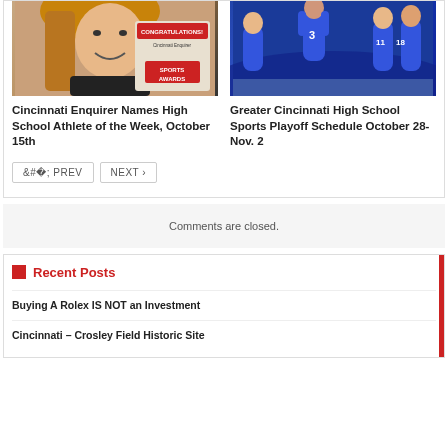[Figure (photo): Photo of a smiling young woman holding a congratulations sports awards certificate/sign]
[Figure (photo): Photo of high school volleyball players in blue uniforms celebrating]
Cincinnati Enquirer Names High School Athlete of the Week, October 15th
Greater Cincinnati High School Sports Playoff Schedule October 28-Nov. 2
< PREV
NEXT >
Comments are closed.
Recent Posts
Buying A Rolex IS NOT an Investment
Cincinnati – Crosley Field Historic Site